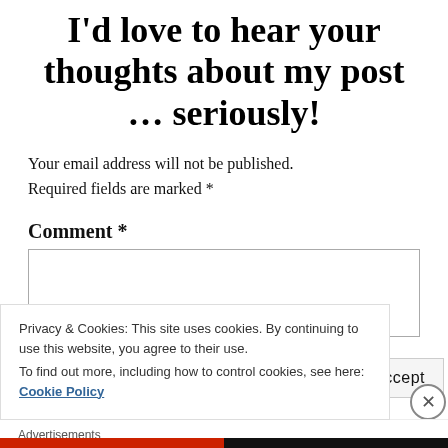I'd love to hear your thoughts about my post … seriously!
Your email address will not be published. Required fields are marked *
Comment *
Privacy & Cookies: This site uses cookies. By continuing to use this website, you agree to their use.
To find out more, including how to control cookies, see here: Cookie Policy
Close and accept
Advertisements